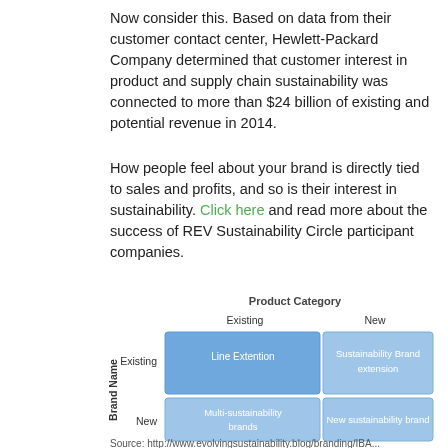Now consider this. Based on data from their customer contact center, Hewlett-Packard Company determined that customer interest in product and supply chain sustainability was connected to more than $24 billion of existing and potential revenue in 2014.
How people feel about your brand is directly tied to sales and profits, and so is their interest in sustainability. Click here and read more about the success of REV Sustainability Circle participant companies.
[Figure (other): 2x2 matrix diagram showing Product Category (Existing/New) vs Brand Name (Existing/New) with four cells: Line Extention, Sustainability Brand extension, Multi-sustainability brands, New sustainability brand]
Source: http://www.evolvingsustainability.blog/branding/IBA...